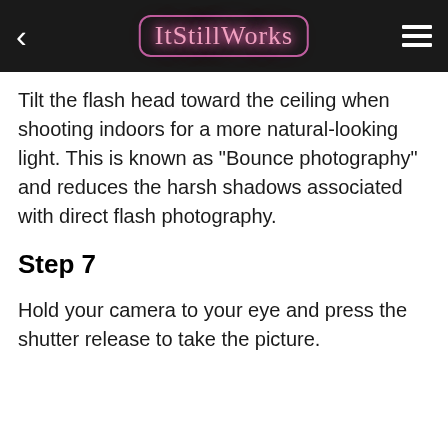ItStillWorks
Tilt the flash head toward the ceiling when shooting indoors for a more natural-looking light. This is known as "Bounce photography" and reduces the harsh shadows associated with direct flash photography.
Step 7
Hold your camera to your eye and press the shutter release to take the picture.